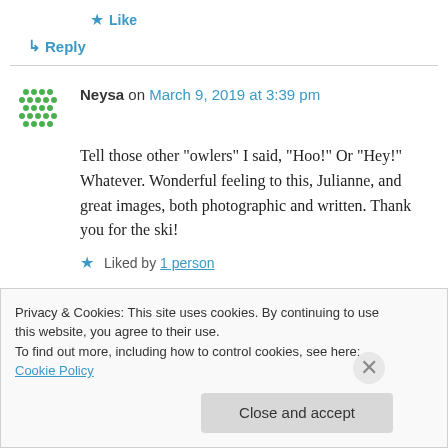★ Like
↳ Reply
Neysa on March 9, 2019 at 3:39 pm
Tell those other "owlers" I said, "Hoo!" Or "Hey!" Whatever. Wonderful feeling to this, Julianne, and great images, both photographic and written. Thank you for the ski!
★ Liked by 1 person
Privacy & Cookies: This site uses cookies. By continuing to use this website, you agree to their use. To find out more, including how to control cookies, see here: Cookie Policy Close and accept